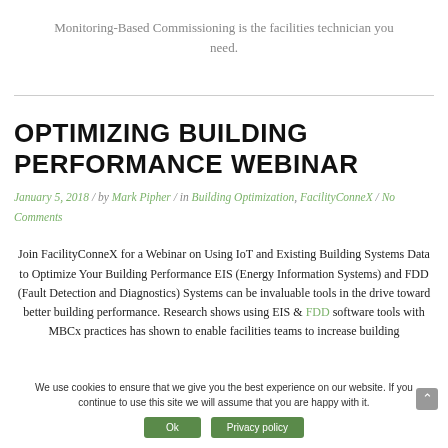Monitoring-Based Commissioning is the facilities technician you need.
OPTIMIZING BUILDING PERFORMANCE WEBINAR
January 5, 2018 / by Mark Pipher / in Building Optimization, FacilityConneX / No Comments
Join FacilityConneX for a Webinar on Using IoT and Existing Building Systems Data to Optimize Your Building Performance EIS (Energy Information Systems) and FDD (Fault Detection and Diagnostics) Systems can be invaluable tools in the drive toward better building performance. Research shows using EIS & FDD software tools with MBCx practices has shown to enable facilities teams to increase building
We use cookies to ensure that we give you the best experience on our website. If you continue to use this site we will assume that you are happy with it.